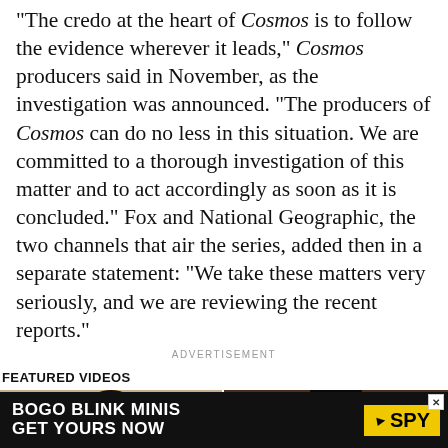"The credo at the heart of Cosmos is to follow the evidence wherever it leads," Cosmos producers said in November, as the investigation was announced. "The producers of Cosmos can do no less in this situation. We are committed to a thorough investigation of this matter and to act accordingly as soon as it is concluded." Fox and National Geographic, the two channels that air the series, added then in a separate statement: "We take these matters very seriously, and we are reviewing the recent reports."
ADVERTISEMENT
FEATURED VIDEOS
[Figure (photo): Two-panel video thumbnail strip: left panel shows a woman with dark hair in a suit against a tan background; right panel shows a woman with large hoop earrings laughing against a dark background.]
[Figure (photo): Advertisement banner: black background with white bold text 'BOGO BLINK MINIS GET YOURS NOW' and yellow SPY logo with arrow on right, with an X close button.]